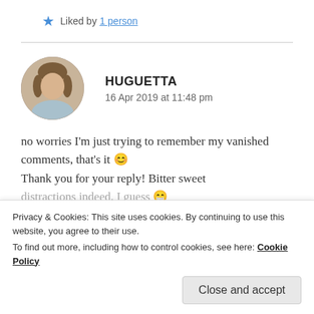★ Liked by 1 person
[Figure (photo): Circular avatar photo of a woman with shoulder-length brown hair, wearing a light blue top, with a wooden background.]
HUGUETTA
16 Apr 2019 at 11:48 pm
no worries I'm just trying to remember my vanished comments, that's it 😊 Thank you for your reply! Bitter sweet distractions indeed, I guess 😁
Privacy & Cookies: This site uses cookies. By continuing to use this website, you agree to their use.
To find out more, including how to control cookies, see here: Cookie Policy
Close and accept